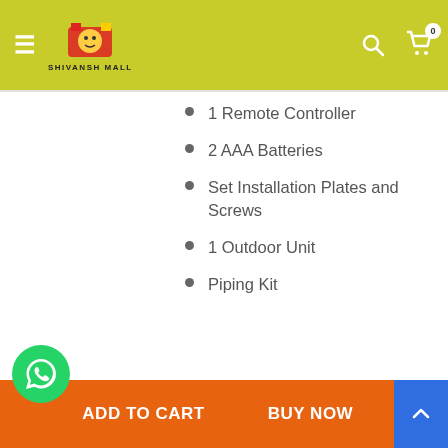[Figure (screenshot): E-commerce website header with olive/yellow-green background showing hamburger menu, Shivansh Mall logo, search icon and cart icon with badge showing 0]
1 Remote Controller
2 AAA Batteries
Set Installation Plates and Screws
1 Outdoor Unit
Piping Kit
User Manual
Warranty Card
Brand
Panasonic
[Figure (other): Bottom action bar with WhatsApp floating button, ADD TO CART button and BUY NOW button in orange, and blue scroll-to-top button]